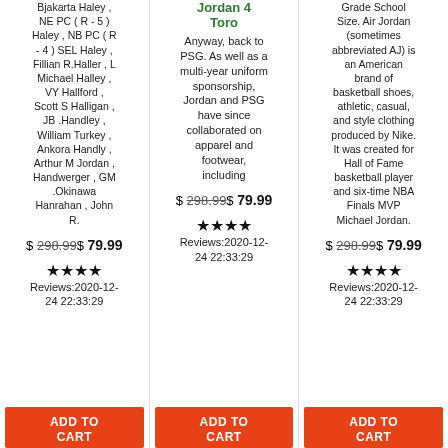Bjakarta Haley , NE PC ( R - 5 ) Haley , NB PC ( R - 4 ) SEL Haley , Fillian R.Haller , L Michael Halley , VY Hallford , Scott S Halligan , JB .Handley , William Turkey , Ankora Handly , Arthur M Jordan , Handwerger , GM .Okinawa Hanrahan , John R.
Jordan 4 Toro
Anyway, back to PSG. As well as a multi-year uniform sponsorship, Jordan and PSG have since collaborated on apparel and footwear, including
Grade School Size. Air Jordan (sometimes abbreviated AJ) is an American brand of basketball shoes, athletic, casual, and style clothing produced by Nike. It was created for Hall of Fame basketball player and six-time NBA Finals MVP Michael Jordan.
$ 298.99$ 79.99
$ 298.99$ 79.99
$ 298.99$ 79.99
★★★★ Reviews:2020-12-24 22:33:29
★★★★ Reviews:2020-12-24 22:33:29
★★★★ Reviews:2020-12-24 22:33:29
ADD TO CART
ADD TO CART
ADD TO CART